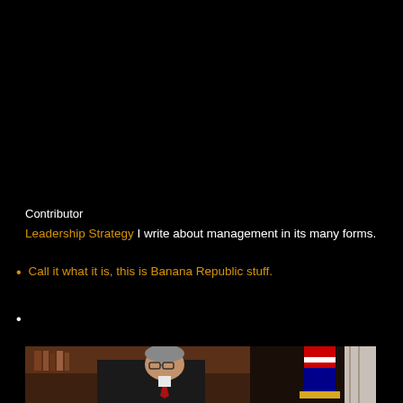Contributor
Leadership Strategy I write about management in its many forms.
Call it what it is, this is Banana Republic stuff.
[Figure (photo): A man in a dark suit and red tie with glasses, seated in a red leather chair, smiling. A US flag is visible in the background along with wood-paneled bookshelves.]